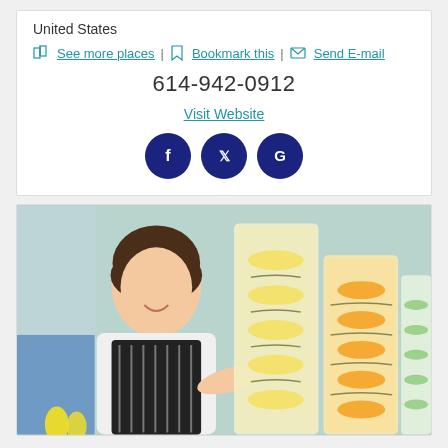United States
See more places | Bookmark this | Send E-mail
614-942-0912
Visit Website
[Figure (other): Social media icons: Facebook, Twitter, Google]
[Figure (photo): A female chef in a white coat and black apron smiling, standing next to large glass dispensers filled with infused water with lemon slices, orange slices, and cucumber slices.]